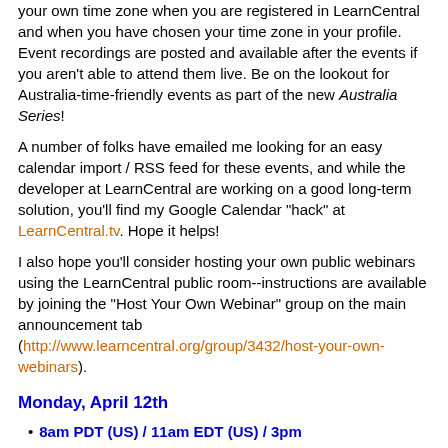your own time zone when you are registered in LearnCentral and when you have chosen your time zone in your profile. Event recordings are posted and available after the events if you aren't able to attend them live. Be on the lookout for Australia-time-friendly events as part of the new Australia Series!
A number of folks have emailed me looking for an easy calendar import / RSS feed for these events, and while the developer at LearnCentral are working on a good long-term solution, you'll find my Google Calendar "hack" at LearnCentral.tv. Hope it helps!
I also hope you'll consider hosting your own public webinars using the LearnCentral public room--instructions are available by joining the "Host Your Own Webinar" group on the main announcement tab (http://www.learncentral.org/group/3432/host-your-own-webinars).
Monday, April 12th
8am PDT (US) / 11am EDT (US) / 3pm